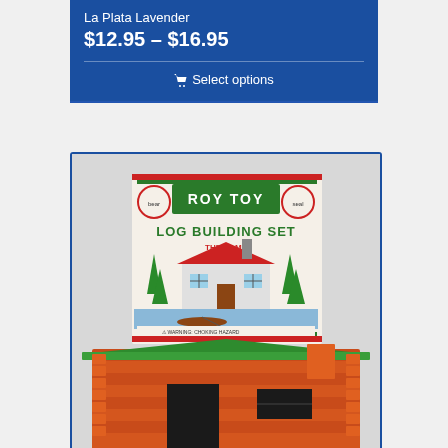La Plata Lavender
$12.95 – $16.95
Select options
[Figure (photo): Roy Toy Log Building Set 'The Camp' product box shown propped against a built log cabin toy with green roof and orange/red logs, photographed on a white background.]